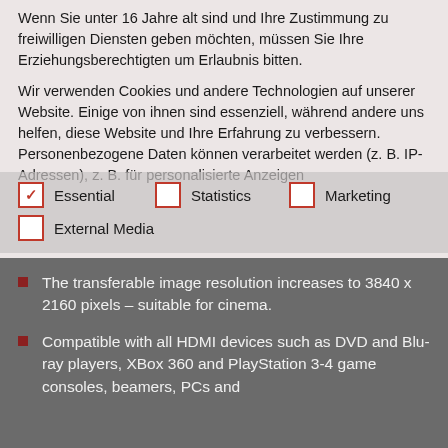Wenn Sie unter 16 Jahre alt sind und Ihre Zustimmung zu freiwilligen Diensten geben möchten, müssen Sie Ihre Erziehungsberechtigten um Erlaubnis bitten.
Wir verwenden Cookies und andere Technologien auf unserer Website. Einige von ihnen sind essenziell, während andere uns helfen, diese Website und Ihre Erfahrung zu verbessern. Personenbezogene Daten können verarbeitet werden (z. B. IP-Adressen), z. B. für personalisierte Anzeigen
Essential | Statistics | Marketing | External Media
The transferable image resolution increases to 3840 x 2160 pixels – suitable for cinema.
Compatible with all HDMI devices such as DVD and Blu-ray players, XBox 360 and PlayStation 3-4 game consoles, beamers, PCs and